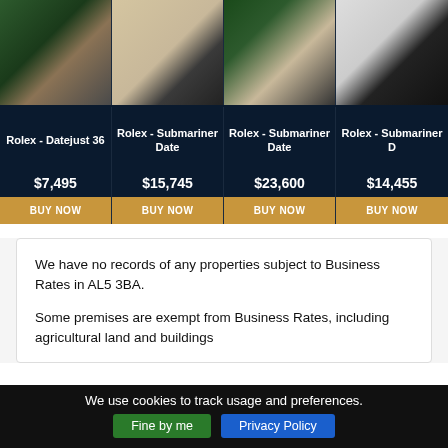[Figure (screenshot): Ad banner showing four Rolex watches in a dark navy grid layout with prices and BUY NOW buttons]
We have no records of any properties subject to Business Rates in AL5 3BA.
Some premises are exempt from Business Rates, including agricultural land and buildings
We use cookies to track usage and preferences. Fine by me  Privacy Policy